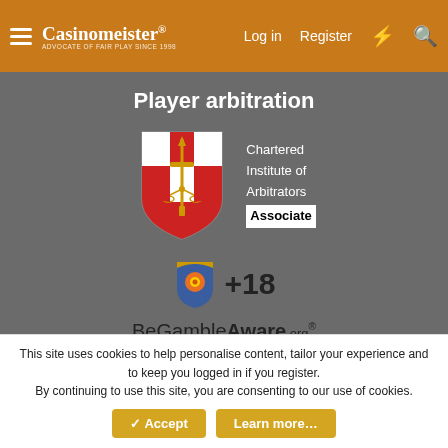Casinomeister® — Log in  Register
Player arbitration
[Figure (logo): Chartered Institute of Arbitrators shield logo with red and white heraldic design, sword and scales of justice, with text 'Chartered Institute of Arbitrators Associate']
[Figure (logo): +18 shield icon in blue and orange with '+18' text beside it]
BeGambleAware.org
About us
Assisting players and serving the online gaming industry since 1998
This site uses cookies to help personalise content, tailor your experience and to keep you logged in if you register.
By continuing to use this site, you are consenting to our use of cookies.